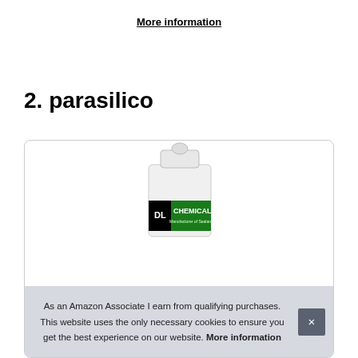More information
2. parasilico
[Figure (photo): DL Chemicals product bottle (white with green label) shown in a rounded-corner card container]
As an Amazon Associate I earn from qualifying purchases. This website uses the only necessary cookies to ensure you get the best experience on our website. More information